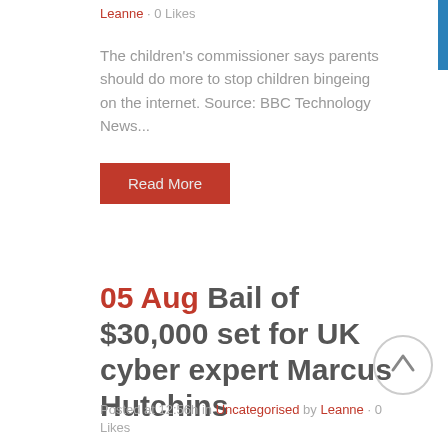Leanne · 0 Likes
The children's commissioner says parents should do more to stop children bingeing on the internet. Source: BBC Technology News...
Read More
05 Aug Bail of $30,000 set for UK cyber expert Marcus Hutchins
Posted at 12:56h in Uncategorised by Leanne · 0 Likes